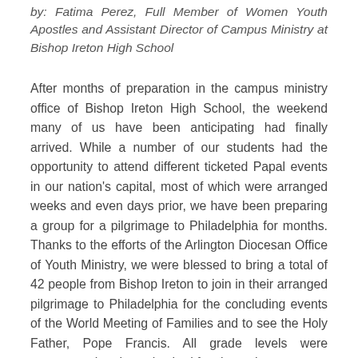by: Fatima Perez, Full Member of Women Youth Apostles and Assistant Director of Campus Ministry at Bishop Ireton High School
After months of preparation in the campus ministry office of Bishop Ireton High School, the weekend many of us have been anticipating had finally arrived. While a number of our students had the opportunity to attend different ticketed Papal events in our nation's capital, most of which were arranged weeks and even days prior, we have been preparing a group for a pilgrimage to Philadelphia for months. Thanks to the efforts of the Arlington Diocesan Office of Youth Ministry, we were blessed to bring a total of 42 people from Bishop Ireton to join in their arranged pilgrimage to Philadelphia for the concluding events of the World Meeting of Families and to see the Holy Father, Pope Francis. All grade levels were represented and we also had faculty and parent